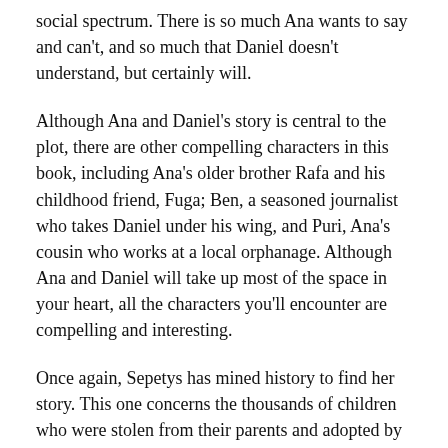social spectrum. There is so much Ana wants to say and can't, and so much that Daniel doesn't understand, but certainly will.
Although Ana and Daniel's story is central to the plot, there are other compelling characters in this book, including Ana's older brother Rafa and his childhood friend, Fuga; Ben, a seasoned journalist who takes Daniel under his wing, and Puri, Ana's cousin who works at a local orphanage. Although Ana and Daniel will take up most of the space in your heart, all the characters you'll encounter are compelling and interesting.
Once again, Sepetys has mined history to find her story. This one concerns the thousands of children who were stolen from their parents and adopted by more 'suitable' families, and with what happens when they grow up and